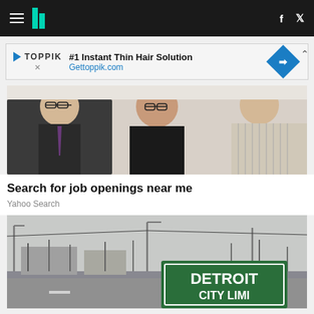HuffPost navigation bar with hamburger menu, logo, Facebook and Twitter icons
[Figure (other): Advertisement for Toppik: #1 Instant Thin Hair Solution - Gettoppik.com]
[Figure (photo): Three professionals (two women and one man) sitting at a table, appearing to be in a job interview or meeting setting]
Search for job openings near me
Yahoo Search
[Figure (photo): Street-level photo of a Detroit City Limit road sign, with bare trees and industrial buildings in background]